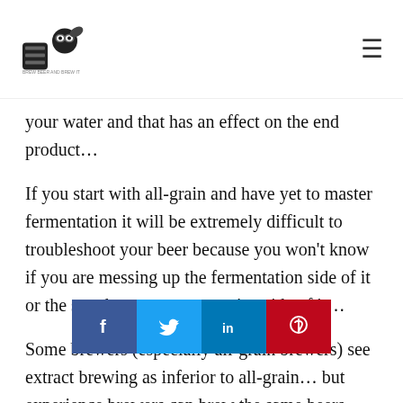[Logo: Brew Beer and Brew It logo] [Hamburger menu icon]
your water and that has an effect on the end product…
If you start with all-grain and have yet to master fermentation it will be extremely difficult to troubleshoot your beer because you won't know if you are messing up the fermentation side of it or the starch to sugar conversion side of it…
Some brewers (especially all-grain brewers) see extract brewing as inferior to all-grain… but experience brewers can brew the same beers using both all-grain and at times extract beers can be better than all-grain beers if the
[Figure (infographic): Social sharing bar with Facebook, Twitter, LinkedIn, and Pinterest buttons]